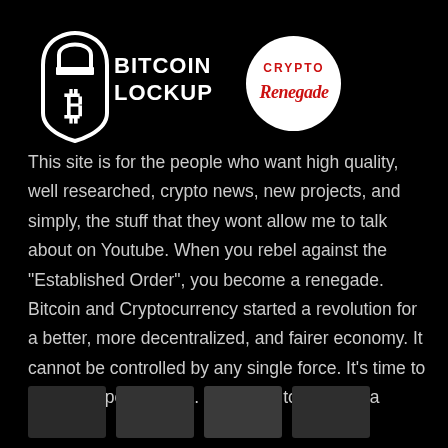[Figure (logo): Bitcoin Lockup logo with padlock icon and text 'BITCOIN LOCKUP', alongside Crypto Renegade circular logo in white circle with red script text]
This site is for the people who want high quality, well researched, crypto news, new projects, and simply, the stuff that they wont allow me to talk about on Youtube. When you rebel against the "Established Order", you become a renegade. Bitcoin and Cryptocurrency started a revolution for a better, more decentralized, and fairer economy. It cannot be controlled by any single force. It's time to take your power back. It's time....to become a renegade.
[Figure (screenshot): Four small thumbnail images at the bottom of the page in dark tones]